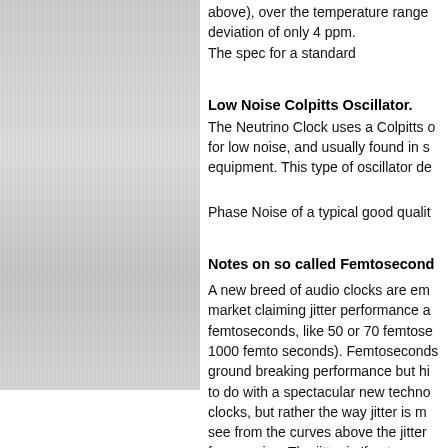[Figure (photo): Brushed metal texture panel on the left side of the page]
above), over the temperature range deviation of only 4 ppm. The spec for a standard
Low Noise Colpitts Oscillator.
The Neutrino Clock uses a Colpitts o for low noise, and usually found in s equipment. This type of oscillator d
Phase Noise of a typical good qualit
Notes on so called Femtosecond
A new breed of audio clocks are em market claiming jitter performance a femtoseconds, like 50 or 70 femtose 1000 femto seconds). Femtosecond ground breaking performance but hi to do with a spectacular new techno clocks, but rather the way jitter is m see from the curves above the jitter frequencies. The jitter in 'femtoseco